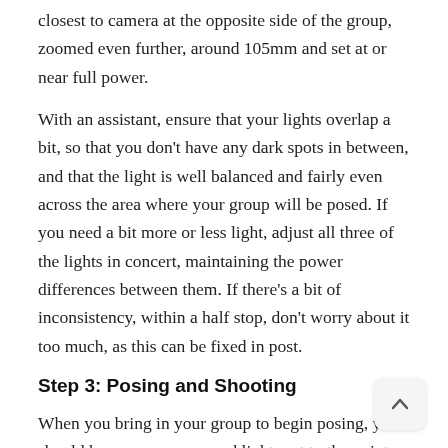closest to camera at the opposite side of the group, zoomed even further, around 105mm and set at or near full power.
With an assistant, ensure that your lights overlap a bit, so that you don't have any dark spots in between, and that the light is well balanced and fairly even across the area where your group will be posed. If you need a bit more or less light, adjust all three of the lights in concert, maintaining the power differences between them. If there's a bit of inconsistency, within a half stop, don't worry about it too much, as this can be fixed in post.
Step 3: Posing and Shooting
When you bring in your group to begin posing, you should have you camera and lights set to the point that any changes you need to make will take a minimal amount o...